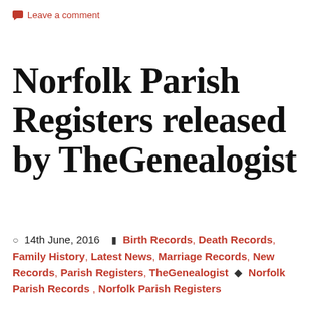Leave a comment
Norfolk Parish Registers released by TheGenealogist
14th June, 2016  Birth Records, Death Records, Family History, Latest News, Marriage Records, New Records, Parish Registers, TheGenealogist  Norfolk Parish Records , Norfolk Parish Registers